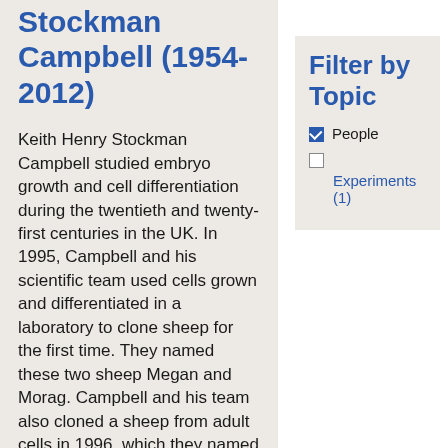Stockman Campbell (1954-2012)
Keith Henry Stockman Campbell studied embryo growth and cell differentiation during the twentieth and twenty-first centuries in the UK. In 1995, Campbell and his scientific team used cells grown and differentiated in a laboratory to clone sheep for the first time. They named these two sheep Megan and Morag. Campbell and his team also cloned a sheep from adult cells in 1996, which they named Dolly. Dolly
Filter by Topic
People
Experiments (1)